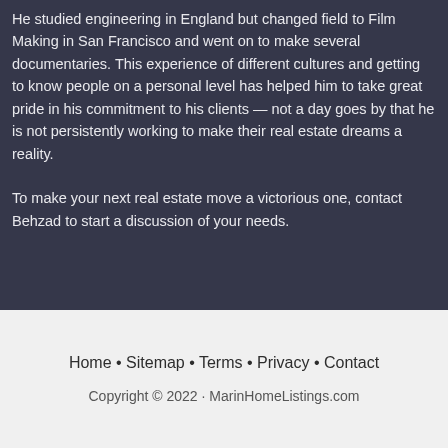He studied engineering in England but changed field to Film Making in San Francisco and went on to make several documentaries. This experience of different cultures and getting to know people on a personal level has helped him to take great pride in his commitment to his clients — not a day goes by that he is not persistently working to make their real estate dreams a reality.
To make your next real estate move a victorious one, contact Behzad to start a discussion of your needs.
Home • Sitemap • Terms • Privacy • Contact
Copyright © 2022 · MarinHomeListings.com